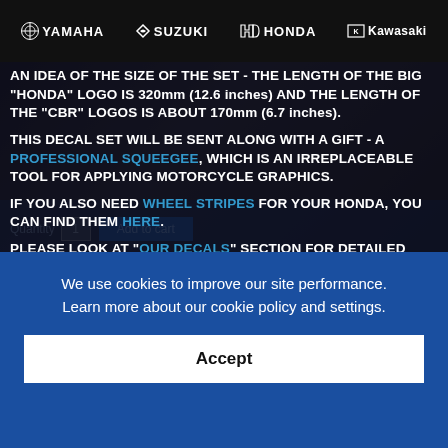YAMAHA  SUZUKI  HONDA  Kawasaki
AN IDEA OF THE SIZE OF THE SET - THE LENGTH OF THE BIG "HONDA" LOGO IS 320mm (12.6 inches) AND THE LENGTH OF THE "CBR" LOGOS IS ABOUT 170mm (6.7 inches).
THIS DECAL SET WILL BE SENT ALONG WITH A GIFT - A PROFESSIONAL SQUEEGEE, WHICH IS AN IRREPLACEABLE TOOL FOR APPLYING MOTORCYCLE GRAPHICS.
IF YOU ALSO NEED WHEEL STRIPES FOR YOUR HONDA, YOU CAN FIND THEM HERE.
PLEASE LOOK AT "OUR DECALS" SECTION FOR DETAILED DESCRIPTION OF ALL OUR PRODUCTS BEFORE YOU BUY THESE HONDA GRAPHICS.
We use cookies to improve our site performance. Learn more about our cookie policy and settings.
Accept